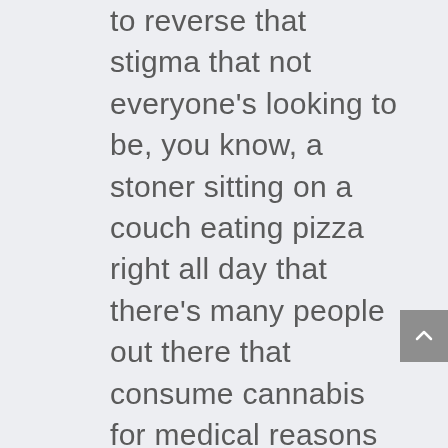to reverse that stigma that not everyone's looking to be, you know, a stoner sitting on a couch eating pizza right all day that there's many people out there that consume cannabis for medical reasons and that are actually highly effective in what they do. And cannabis actually helps supplement either their lifestyle or or helps them deal with